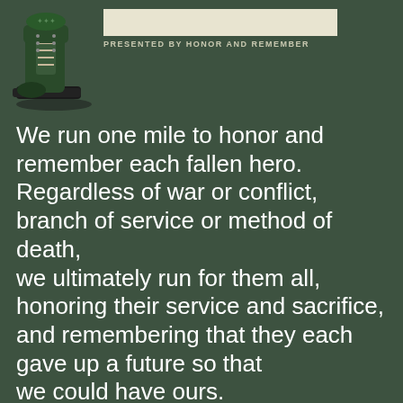[Figure (logo): Honor and Remember logo with military boot illustration and banner text, presented by Honor and Remember]
We run one mile to honor and remember each fallen hero.
Regardless of war or conflict, branch of service or method of death,
we ultimately run for them all, honoring their service and sacrifice,
and remembering that they each gave up a future so that
we could have ours.
We give tribute to them by name wherever possible
and to the sacrifice of the families they left behind.